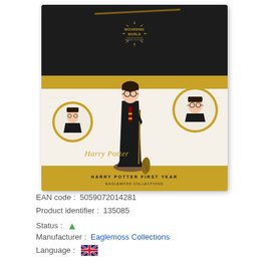[Figure (photo): Harry Potter 1st Year Mega Statue product box. Black top with Wizarding World logo and gold starburst, gold band, white section showing Harry Potter figure holding a wand/broomstick, gold circular portrait of Harry on right side, gold circular portrait on left side, Harry Potter script text, gold band at bottom with product name 'HARRY POTTER FIRST YEAR'.]
EAN code :  5059072014281
Product identifier :  135085
Status :  ✔
Manufacturer :  Eaglemoss Collections
Language :  [UK flag]
Platform :  Merchandising
Harry Potter - 1st Year Harry Potter Mega Statue ENG